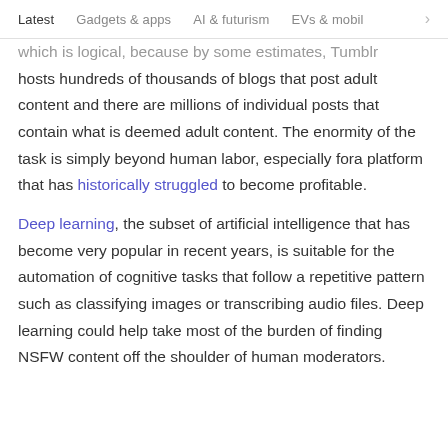Latest   Gadgets & apps   AI & futurism   EVs & mobil >
which is logical, because by some estimates, Tumblr hosts hundreds of thousands of blogs that post adult content and there are millions of individual posts that contain what is deemed adult content. The enormity of the task is simply beyond human labor, especially fora platform that has historically struggled to become profitable.
Deep learning, the subset of artificial intelligence that has become very popular in recent years, is suitable for the automation of cognitive tasks that follow a repetitive pattern such as classifying images or transcribing audio files. Deep learning could help take most of the burden of finding NSFW content off the shoulder of human moderators.